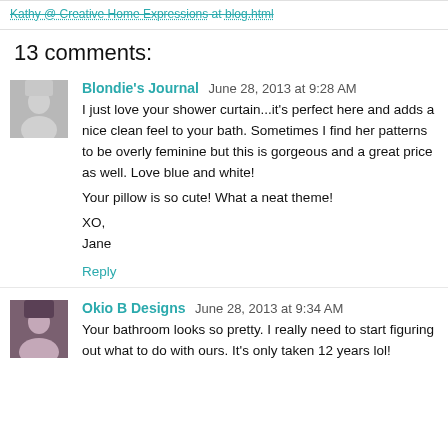Kathy @ Creative Home Expressions at blog.html
13 comments:
Blondie's Journal  June 28, 2013 at 9:28 AM
I just love your shower curtain...it's perfect here and adds a nice clean feel to your bath. Sometimes I find her patterns to be overly feminine but this is gorgeous and a great price as well. Love blue and white!

Your pillow is so cute! What a neat theme!

XO,
Jane
Reply
Okio B Designs  June 28, 2013 at 9:34 AM
Your bathroom looks so pretty. I really need to start figuring out what to do with ours. It's only taken 12 years lol!